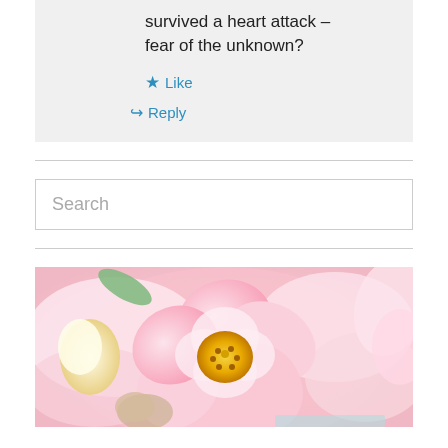survived a heart attack – fear of the unknown?
Like
Reply
[Figure (photo): Close-up photo of pink peony flowers with a yellow center bloom, soft pastel tones]
Search